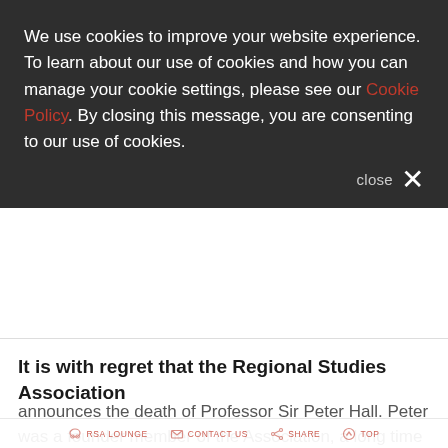We use cookies to improve your website experience. To learn about our use of cookies and how you can manage your cookie settings, please see our Cookie Policy. By closing this message, you are consenting to our use of cookies.
close ×
It is with regret that the Regional Studies Association
announces the death of Professor Sir Peter Hall. Peter was a founder member of the Association, a long time Editor in
RSA LOUNGE   CONTACT US   SHARE   TOP